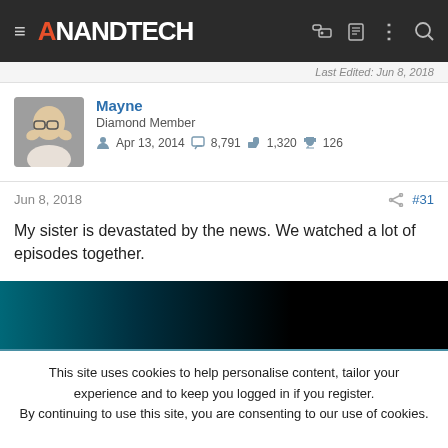AnandTech
Last Edited: Jun 8, 2018
Mayne
Diamond Member
Apr 13, 2014   8,791   1,320   126
Jun 8, 2018   #31
My sister is devastated by the news. We watched a lot of episodes together.
This site uses cookies to help personalise content, tailor your experience and to keep you logged in if you register.
By continuing to use this site, you are consenting to our use of cookies.